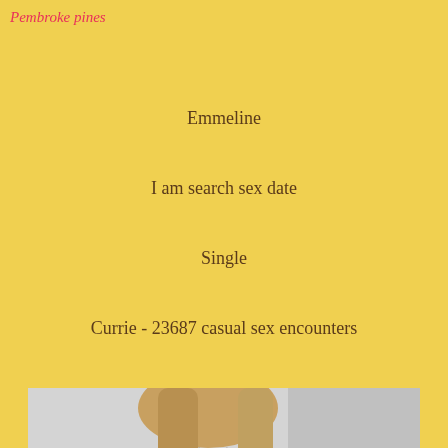Pembroke pines
Emmeline
I am search sex date
Single
Currie - 23687 casual sex encounters
[Figure (photo): Woman wearing a black cut-out dress, crouching, with colorful tattoo visible on her side, photographed against a light background]